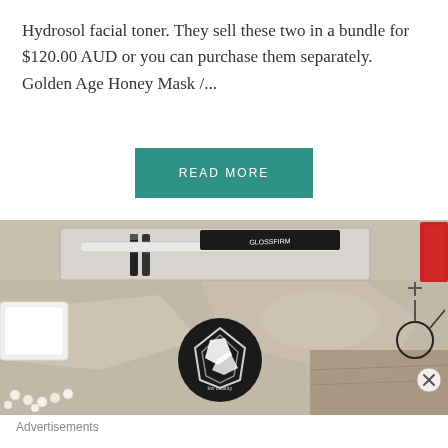Hydrosol facial toner. They sell these two in a bundle for $120.00 AUD or you can purchase them separately. Golden Age Honey Mask /...
READ MORE
[Figure (photo): Flatlay photograph of beauty/cosmetic products including eyeliner pencils in a clear case, a white compact, a round black badge with geometric white design, pearls, and accessories on a marble surface]
Advertisements